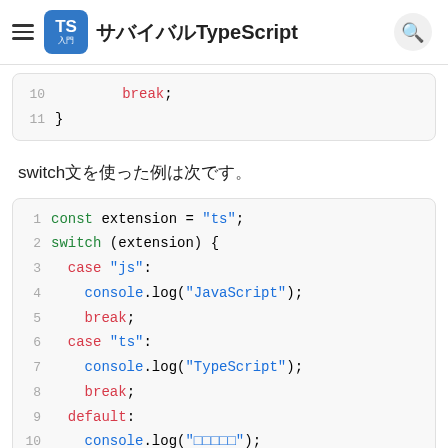サバイバルTypeScript
[Figure (screenshot): Code block showing lines 10-11: break; and closing brace]
switch文を使った例は次です。
[Figure (screenshot): Code block showing switch statement example lines 1-10: const extension = 'ts'; switch (extension) { case 'js': console.log('JavaScript'); break; case 'ts': console.log('TypeScript'); break; default: console.log('□□□□□');]